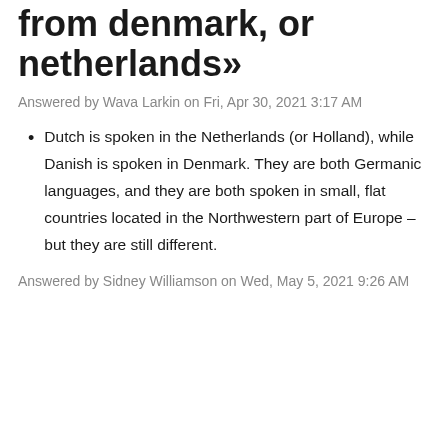from denmark, or netherlands»
Answered by Wava Larkin on Fri, Apr 30, 2021 3:17 AM
Dutch is spoken in the Netherlands (or Holland), while Danish is spoken in Denmark. They are both Germanic languages, and they are both spoken in small, flat countries located in the Northwestern part of Europe – but they are still different.
Answered by Sidney Williamson on Wed, May 5, 2021 9:26 AM